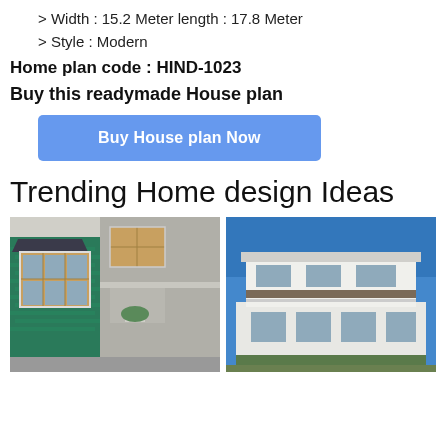> Width : 15.2 Meter length : 17.8 Meter
> Style : Modern
Home plan code : HIND-1023
Buy this readymade House plan
Buy House plan Now
Trending Home design Ideas
[Figure (photo): House exterior with green brick wall and brown wooden windows with awning roof]
[Figure (photo): Modern two-storey white house exterior with blue sky background]